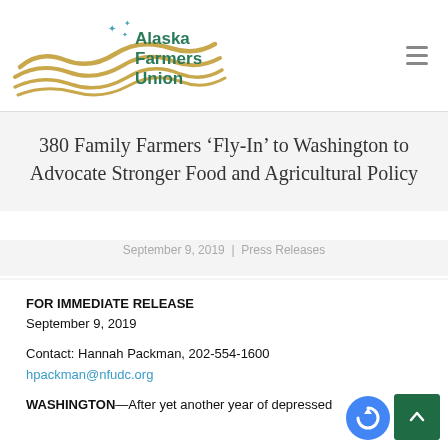Alaska Farmers Union
380 Family Farmers ‘Fly-In’ to Washington to Advocate Stronger Food and Agricultural Policy
September 9, 2019 | Press Releases
FOR IMMEDIATE RELEASE
September 9, 2019
Contact: Hannah Packman, 202-554-1600
hpackman@nfudc.org
WASHINGTON—After yet another year of depressed